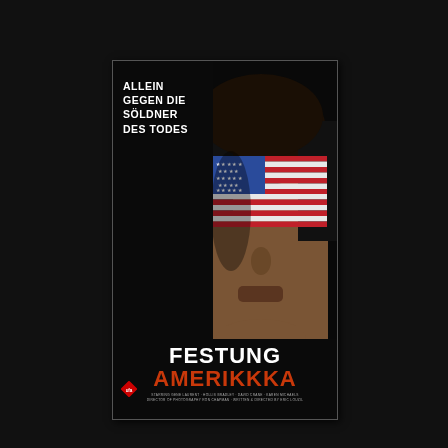[Figure (photo): VHS cover for 'Festung Amerikkka' (German release of America's Deadliest Home Video or similar). Shows a man's face with an American flag painted over his eyes/forehead. Tagline in German: 'ALLEIN GEGEN DIE SÖLDNER DES TODES'. Title at bottom: 'FESTUNG AMERIKKKA'. UFA logo bottom left. Small credits text at bottom. Dark background with the VHS case centered.]